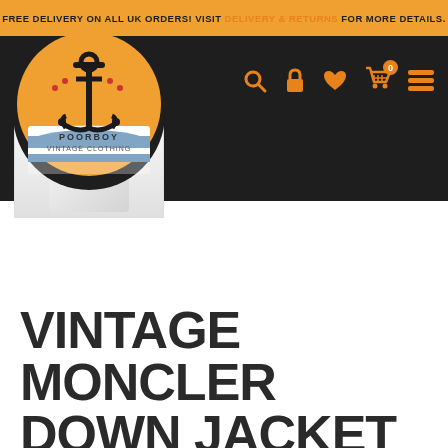FREE DELIVERY ON ALL UK ORDERS! VISIT DELIVERY & RETURNS FOR MORE DETAILS.
[Figure (logo): Poorboy Vintage Clothing logo: circular badge with orange background, anchor illustration, and wave design. Text reads POORBOY VINTAGE CLOTHING.]
[Figure (photo): Partial product photo of a vintage Moncler down jacket, white/light colored, cropped at bottom]
VINTAGE MONCLER DOWN JACKET
£299.00